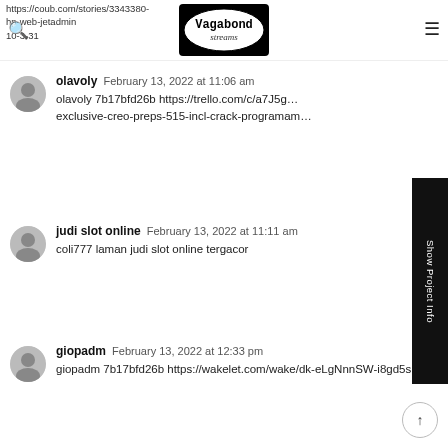https://coub.com/stories/3343380-hp-web-jetadmin-10-3-31
[Figure (logo): Vagabond Streams logo - oval black and white logo with typewriter text]
olavoly  February 13, 2022 at 11:06 am
olavoly 7b17bfd26b https://trello.com/c/a7J5g exclusive-creo-preps-515-incl-crack-programam
judi slot online  February 13, 2022 at 11:11 am
coli777 laman judi slot online tergacor
giopadm  February 13, 2022 at 12:33 pm
giopadm 7b17bfd26b https://wakelet.com/wake/dk-eLgNnnSW-i8gd5sM7j